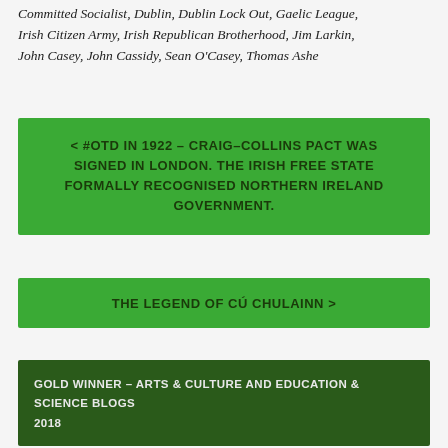Committed Socialist, Dublin, Dublin Lock Out, Gaelic League, Irish Citizen Army, Irish Republican Brotherhood, Jim Larkin, John Casey, John Cassidy, Sean O'Casey, Thomas Ashe
< #OTD IN 1922 – CRAIG–COLLINS PACT WAS SIGNED IN LONDON. THE IRISH FREE STATE FORMALLY RECOGNISED NORTHERN IRELAND GOVERNMENT.
THE LEGEND OF CÚ CHULAINN >
GOLD WINNER – ARTS & CULTURE AND EDUCATION & SCIENCE BLOGS 2018